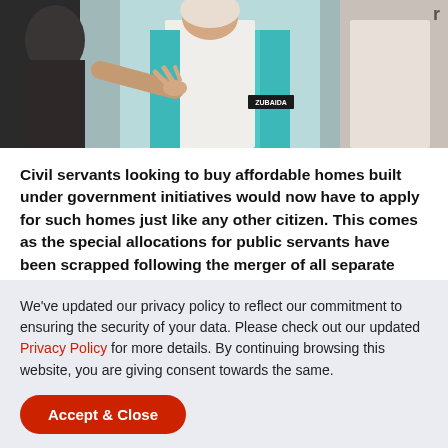[Figure (photo): Photo of people, one wearing a teal/turquoise vest with a badge labeled ZUBAIDA, gesturing with hands]
Civil servants looking to buy affordable homes built under government initiatives would now have to apply for such homes just like any other citizen. This comes as the special allocations for public servants have been scrapped following the merger of all separate agencies tasked to provide affordable housing into a single body.
[Figure (other): Advertisement block (gray placeholder)]
We've updated our privacy policy to reflect our commitment to ensuring the security of your data. Please check out our updated Privacy Policy for more details. By continuing browsing this website, you are giving consent towards the same.
Accept & Close